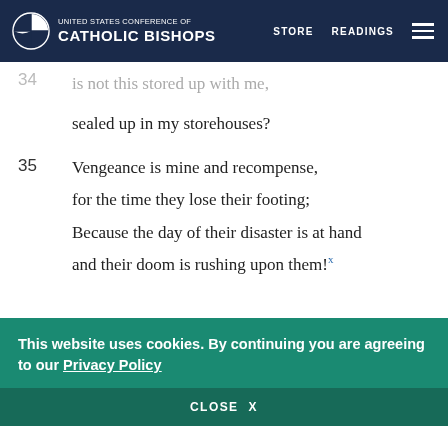UNITED STATES CONFERENCE OF CATHOLIC BISHOPS  STORE  READINGS
is not this stored up with me,
sealed up in my storehouses?
35  Vengeance is mine and recompense,
for the time they lose their footing;
Because the day of their disaster is at hand
and their doom is rushing upon them!x
This website uses cookies. By continuing you are agreeing to our Privacy Policy
CLOSE  X